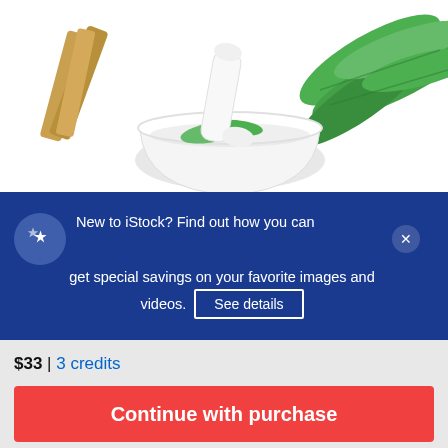[Figure (photo): Mortar and pestle with green herbs/leaves and herbal sticks on white background]
New to iStock? Find out how you can get special savings on your favorite images and videos. See details
$33 | 3 credits
Continue with purchase